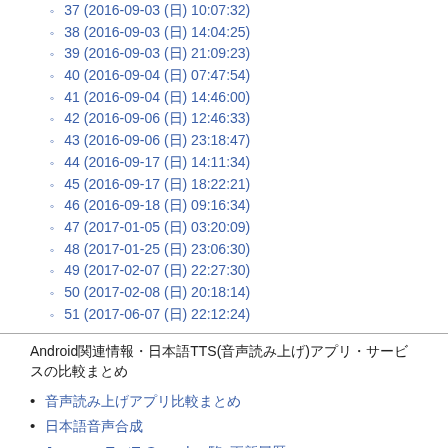37 (2016-09-03 (日) 10:07:32)
38 (2016-09-03 (日) 14:04:25)
39 (2016-09-03 (日) 21:09:23)
40 (2016-09-04 (日) 07:47:54)
41 (2016-09-04 (日) 14:46:00)
42 (2016-09-06 (日) 12:46:33)
43 (2016-09-06 (日) 23:18:47)
44 (2016-09-17 (日) 14:11:34)
45 (2016-09-17 (日) 18:22:21)
46 (2016-09-18 (日) 09:16:34)
47 (2017-01-05 (日) 03:20:09)
48 (2017-01-25 (日) 23:06:30)
49 (2017-02-07 (日) 22:27:30)
50 (2017-02-08 (日) 20:18:14)
51 (2017-06-07 (日) 22:12:24)
Androidアプリ関連情報・日本語TTS(音声読み上げ)アプリ・サービスの比較まとめ
音声読み上げアプリ比較まとめ
日本語音声合成
JapaneseTextToSpeech一覧  更新履歴
設定画面の説明
使い方
更新履歴